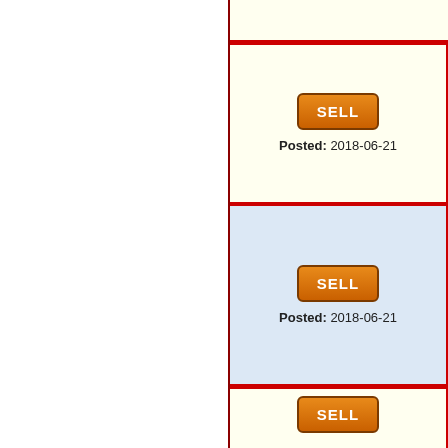Location: Abu Al Hasania
..Cavalier King Ch...
... More Dogs Ads - Cava...
We have 2 Cavalier King ... vet check up. Very cute, f... available
Posted: 2018-06-21
Location: Doha, Kuwait
M/F Male and Fem...
... More Dogs Ads
M/F Male and Female Ca... markings on his back. AC... included with the puppy. H...
Posted: 2018-06-21
Location: Al-riqqah, Kuw...
Cavalier King Cha...
... More Dogs Ads
Kuwait Classifieds
* Kuwait Cars & Vehicles Classifieds
* Kuwait Jobs Classifieds
* Kuwait Pets & Animals Classifieds
* Kuwait Real Estate